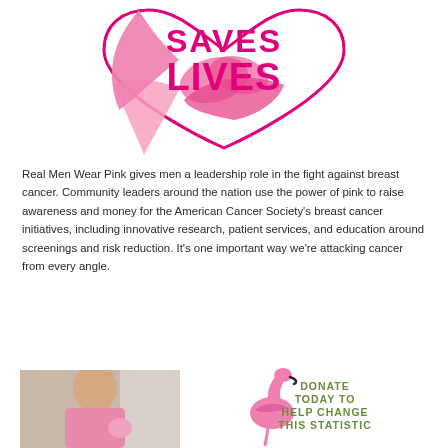[Figure (logo): Pink ribbon heart logo with text 'SAVES LIVES' in pink bold letters on white background, with large pink ribbon graphic]
Real Men Wear Pink gives men a leadership role in the fight against breast cancer. Community leaders around the nation use the power of pink to raise awareness and money for the American Cancer Society's breast cancer initiatives, including innovative research, patient services, and education around screenings and risk reduction. It's one important way we're attacking cancer from every angle.
[Figure (photo): Photo of a man wearing pink, partial view]
[Figure (illustration): Pink flamingo illustration with text 'DONATE TODAY TO HELP CHANGE THIS STATISTIC' in green/olive text]